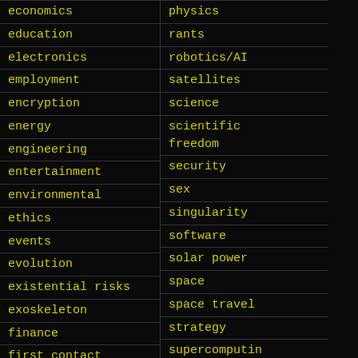physics
economics
rants
education
robotics/AI
electronics
satellites
employment
science
encryption
scientific freedom
energy
security
engineering
sex
entertainment
singularity
environmental
software
ethics
solar power
events
space
evolution
space travel
existential risks
strategy
exoskeleton
supercomputing
finance
surveillance
first contact
sustainability
food
fun
futurism